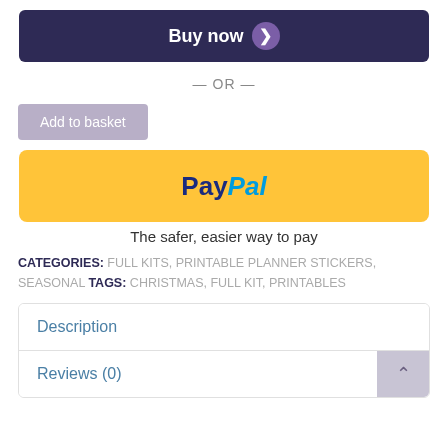[Figure (screenshot): Buy now button with dark navy background and purple chevron icon]
— OR —
[Figure (screenshot): Add to basket button with muted purple background]
[Figure (screenshot): PayPal yellow payment button]
The safer, easier way to pay
CATEGORIES: FULL KITS, PRINTABLE PLANNER STICKERS, SEASONAL TAGS: CHRISTMAS, FULL KIT, PRINTABLES
Description
Reviews (0)